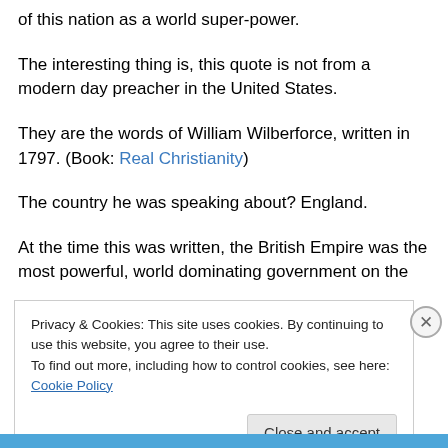of this nation as a world super-power.
The interesting thing is, this quote is not from a modern day preacher in the United States.
They are the words of William Wilberforce, written in 1797. (Book: Real Christianity)
The country he was speaking about? England.
At the time this was written, the British Empire was the most powerful, world dominating government on the
Privacy & Cookies: This site uses cookies. By continuing to use this website, you agree to their use. To find out more, including how to control cookies, see here: Cookie Policy
Close and accept